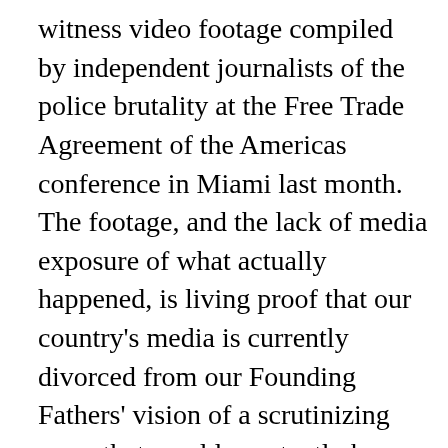witness video footage compiled by independent journalists of the police brutality at the Free Trade Agreement of the Americas conference in Miami last month. The footage, and the lack of media exposure of what actually happened, is living proof that our country's media is currently divorced from our Founding Fathers' vision of a scrutinizing press that would constantly keep the public informed about the imperfections of its leaders in order to keep democracy